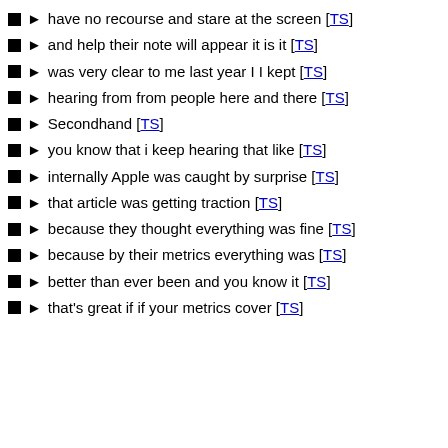have no recourse and stare at the screen [TS]
and help their note will appear it is it [TS]
was very clear to me last year I I kept [TS]
hearing from from people here and there [TS]
Secondhand [TS]
you know that i keep hearing that like [TS]
internally Apple was caught by surprise [TS]
that article was getting traction [TS]
because they thought everything was fine [TS]
because by their metrics everything was [TS]
better than ever been and you know it [TS]
that's great if if your metrics cover [TS]